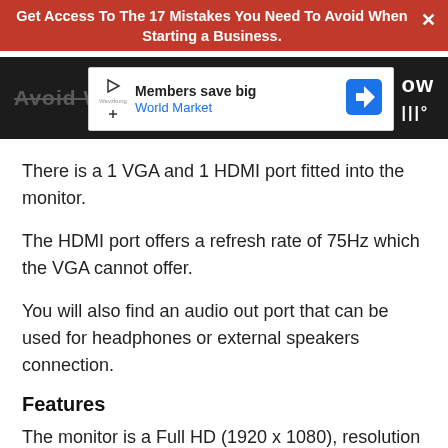Get Access To The 17 Mistakes You Need To Avoid When Starting a Business.
[Figure (screenshot): Advertisement banner: Members save big - World Market, with play icon and directional arrow logo]
There is a 1 VGA and 1 HDMI port fitted into the monitor.
The HDMI port offers a refresh rate of 75Hz which the VGA cannot offer.
You will also find an audio out port that can be used for headphones or external speakers connection.
Features
The monitor is a Full HD (1920 x 1080), resolution